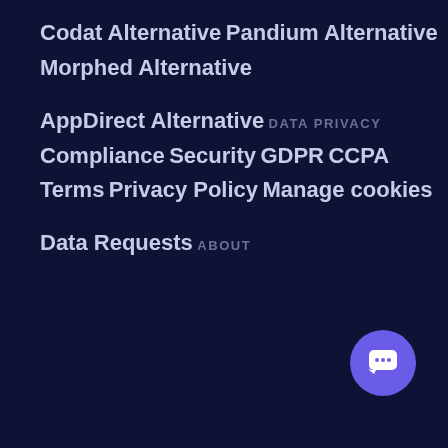Codat Alternative
Pandium Alternative
Morphed Alternative
AppDirect Alternative
DATA PRIVACY
Compliance
Security
GDPR
CCPA
Terms
Privacy Policy
Manage cookies
Data Requests
ABOUT